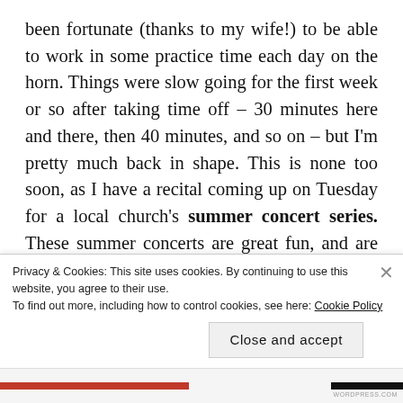been fortunate (thanks to my wife!) to be able to work in some practice time each day on the horn. Things were slow going for the first week or so after taking time off – 30 minutes here and there, then 40 minutes, and so on – but I'm pretty much back in shape. This is none too soon, as I have a recital coming up on Tuesday for a local church's summer concert series. These summer concerts are great fun, and are free admission. For this recital two of my colleagues and I will be reprising our program from a few months back, which features music by Portuguese composer
Privacy & Cookies: This site uses cookies. By continuing to use this website, you agree to their use.
To find out more, including how to control cookies, see here: Cookie Policy
Close and accept